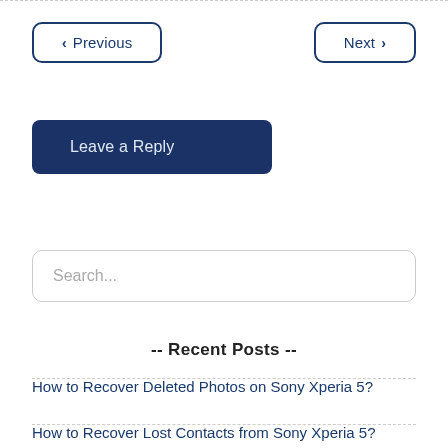< Previous
Next >
Leave a Reply
Search...
-- Recent Posts --
How to Recover Deleted Photos on Sony Xperia 5?
How to Recover Lost Contacts from Sony Xperia 5?